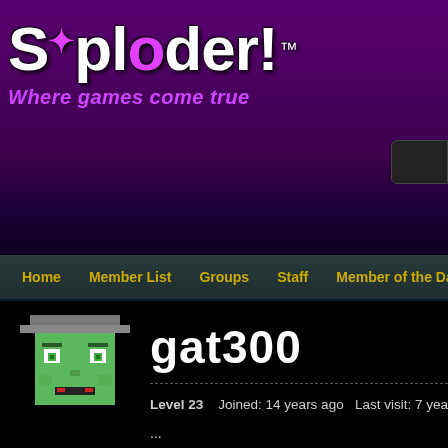Sploder! Where games come true
gat300
Level 23   Joined: 14 years ago   Last visit: 7 years ago
...